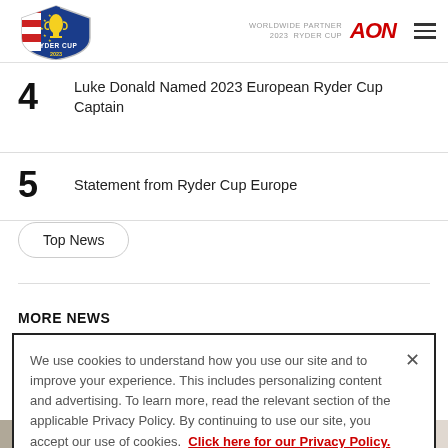Ryder Cup 2023 — WORLDWIDE PARTNER 2023 RYDER CUP AON
4  Luke Donald Named 2023 European Ryder Cup Captain
5  Statement from Ryder Cup Europe
Top News
MORE NEWS
We use cookies to understand how you use our site and to improve your experience. This includes personalizing content and advertising. To learn more, read the relevant section of the applicable Privacy Policy. By continuing to use our site, you accept our use of cookies. Click here for our Privacy Policy.